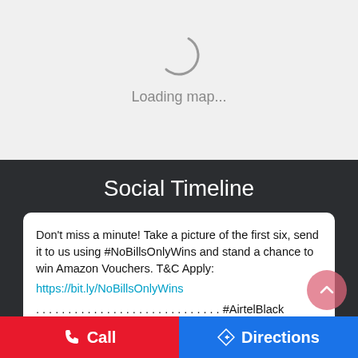[Figure (screenshot): Map loading spinner with arc and 'Loading map...' text on light gray background]
Social Timeline
Don't miss a minute! Take a picture of the first six, send it to us using #NoBillsOnlyWins and stand a chance to win Amazon Vouchers. T&C Apply: https://bit.ly/NoBillsOnlyWins
. . . . . . . . . . . . . . . . . . . . . . . . . . . . . #AirtelBlack
#ContestAlert
Call   Directions